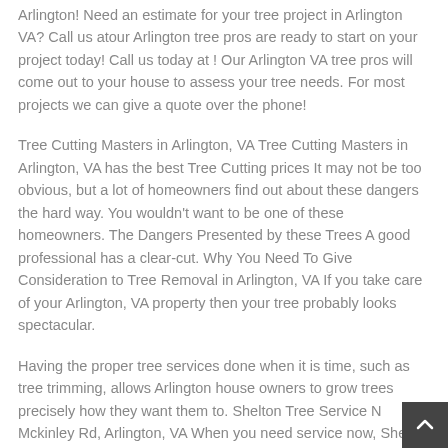Arlington! Need an estimate for your tree project in Arlington VA? Call us atour Arlington tree pros are ready to start on your project today! Call us today at ! Our Arlington VA tree pros will come out to your house to assess your tree needs. For most projects we can give a quote over the phone!
Tree Cutting Masters in Arlington, VA Tree Cutting Masters in Arlington, VA has the best Tree Cutting prices It may not be too obvious, but a lot of homeowners find out about these dangers the hard way. You wouldn't want to be one of these homeowners. The Dangers Presented by these Trees A good professional has a clear-cut. Why You Need To Give Consideration to Tree Removal in Arlington, VA If you take care of your Arlington, VA property then your tree probably looks spectacular.
Having the proper tree services done when it is time, such as tree trimming, allows Arlington house owners to grow trees precisely how they want them to. Shelton Tree Service N Mckinley Rd, Arlington, VA When you need service now, Shelton Tree Service is here for you! They offer 24/7 emergency tree and crane services. The company has invested in large scale, professional equipment and is. Check Out Highlights from the Arlington C...